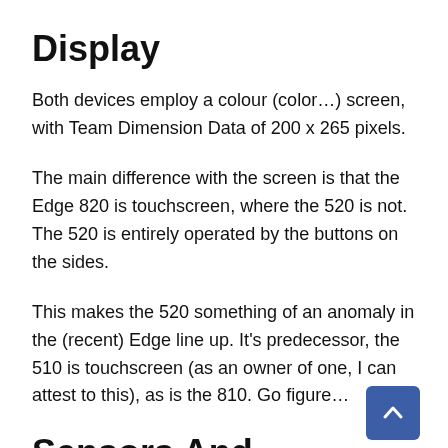Display
Both devices employ a colour (color…) screen, with Team Dimension Data of 200 x 265 pixels.
The main difference with the screen is that the Edge 820 is touchscreen, where the 520 is not. The 520 is entirely operated by the buttons on the sides.
This makes the 520 something of an anomaly in the (recent) Edge line up. It's predecessor, the 510 is touchscreen (as an owner of one, I can attest to this), as is the 810. Go figure…
Sensors And Connectivity
It used to be that people bought GPS bike computers to